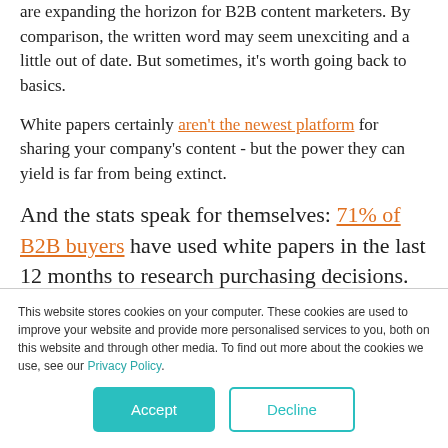are expanding the horizon for B2B content marketers. By comparison, the written word may seem unexciting and a little out of date. But sometimes, it's worth going back to basics.
White papers certainly aren't the newest platform for sharing your company's content - but the power they can yield is far from being extinct.
And the stats speak for themselves: 71% of B2B buyers have used white papers in the last 12 months to research purchasing decisions.
This website stores cookies on your computer. These cookies are used to improve your website and provide more personalised services to you, both on this website and through other media. To find out more about the cookies we use, see our Privacy Policy.